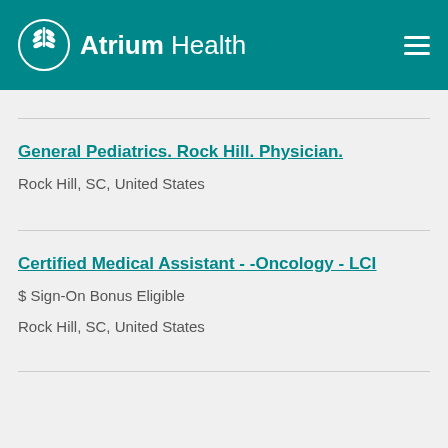Atrium Health
General Pediatrics. Rock Hill. Physician.
Rock Hill, SC, United States
Certified Medical Assistant - -Oncology - LCI
$ Sign-On Bonus Eligible
Rock Hill, SC, United States